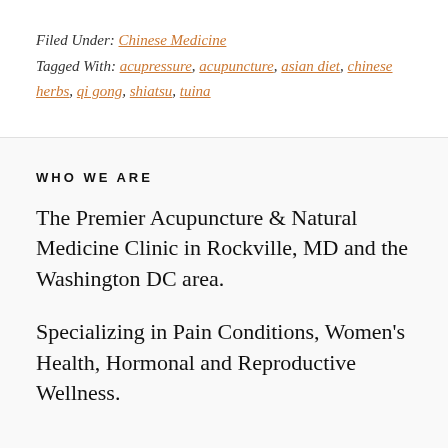Filed Under: Chinese Medicine
Tagged With: acupressure, acupuncture, asian diet, chinese herbs, qi gong, shiatsu, tuina
WHO WE ARE
The Premier Acupuncture & Natural Medicine Clinic in Rockville, MD and the Washington DC area.
Specializing in Pain Conditions, Women's Health, Hormonal and Reproductive Wellness.